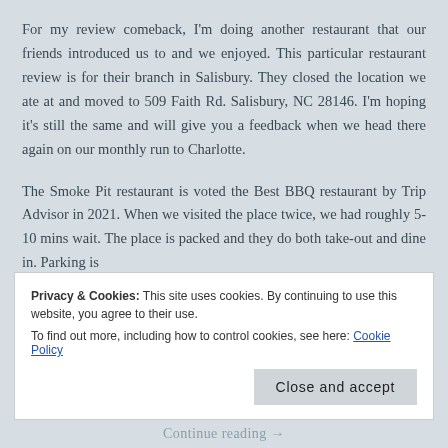For my review comeback, I'm doing another restaurant that our friends introduced us to and we enjoyed. This particular restaurant review is for their branch in Salisbury. They closed the location we ate at and moved to 509 Faith Rd. Salisbury, NC 28146. I'm hoping it's still the same and will give you a feedback when we head there again on our monthly run to Charlotte.
The Smoke Pit restaurant is voted the Best BBQ restaurant by Trip Advisor in 2021. When we visited the place twice, we had roughly 5-10 mins wait. The place is packed and they do both take-out and dine in. Parking is
Privacy & Cookies: This site uses cookies. By continuing to use this website, you agree to their use.
To find out more, including how to control cookies, see here: Cookie Policy
Close and accept
Continue reading →